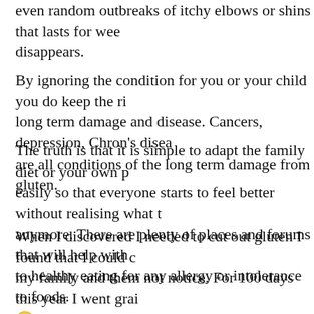even random outbreaks of itchy elbows or shins that lasts for weeks then disappears.
By ignoring the condition for you or your child you do keep the risk of long term damage and disease. Cancers, depression, Chron's disease are all conditions of the long term damage from gluten.
The truth is that it is simple to adapt the family diet or your own p easily so that everyone starts to feel better without realising what t anymore. There are plenty of places and forums that will help with to healthy eating for any allergy or intolerance to foods.
When I discovered I needed to cut out gluten I found that I could c my family and them not notice. For 100 days this year I went grai 🙂 (sneaky eh?!)
So what did we eat?
Well we ate lots of veg. On  their own, in stir fries, roasted, grated